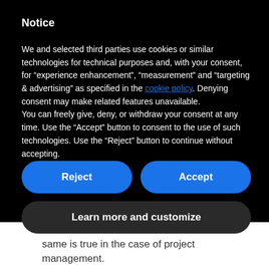Notice
We and selected third parties use cookies or similar technologies for technical purposes and, with your consent, for “experience enhancement”, “measurement” and “targeting & advertising” as specified in the cookie policy. Denying consent may make related features unavailable.
You can freely give, deny, or withdraw your consent at any time. Use the “Accept” button to consent to the use of such technologies. Use the “Reject” button to continue without accepting.
[Figure (other): Reject button (blue rounded rectangle)]
[Figure (other): Accept button (blue rounded rectangle)]
[Figure (other): Learn more and customize button (dark rounded rectangle)]
same is true in the case of project management.